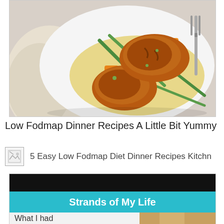[Figure (photo): Overhead view of a white plate with grilled/glazed chicken thighs served on rice with green beans, orange bell pepper chunks, and fresh herbs, with a fork on the right side and a folded flatbread on the left.]
Low Fodmap Dinner Recipes A Little Bit Yummy
[Figure (photo): Broken/missing image icon thumbnail followed by text link: 5 Easy Low Fodmap Diet Dinner Recipes Kitchn]
5 Easy Low Fodmap Diet Dinner Recipes Kitchn
[Figure (screenshot): Screenshot of a blog post page with a black top bar, a teal/cyan banner reading 'Strands of My Life', and partially visible text 'What I had' with a food photo on the right.]